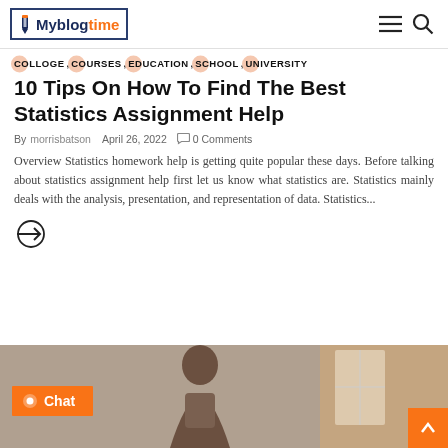Myblogtime
COLLOGE, COURSES, EDUCATION, SCHOOL, UNIVERSITY
10 Tips On How To Find The Best Statistics Assignment Help
By morrisbatson   April 26, 2022   0 Comments
Overview Statistics homework help is getting quite popular these days. Before talking about statistics assignment help first let us know what statistics are. Statistics mainly deals with the analysis, presentation, and representation of data. Statistics...
[Figure (photo): Bottom image strip showing a student/person, with an orange Chat button overlay on the left and a back-to-top arrow button on the lower right]